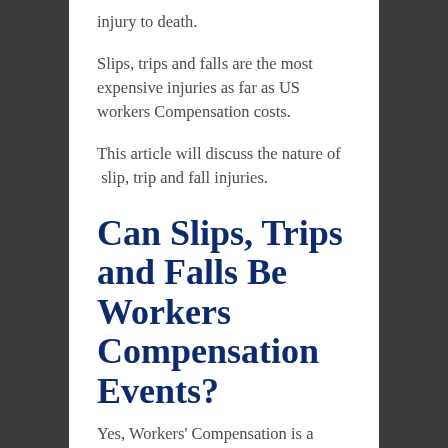injury to death.
Slips, trips and falls are the most expensive injuries as far as US workers Compensation costs.
This article will discuss the nature of slip, trip and fall injuries.
Can Slips, Trips and Falls Be Workers Compensation Events?
Yes, Workers' Compensation is a